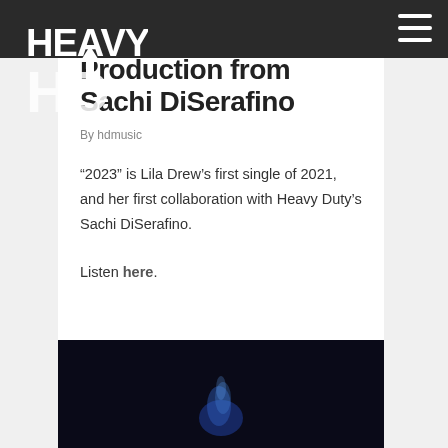Heavy Duty Music - navigation header
Production from Sachi DiSerafino
By hdmusic
“2023” is Lila Drew’s first single of 2021, and her first collaboration with Heavy Duty’s Sachi DiSerafino.
Listen here.
[Figure (photo): Dark photo with blue smoke or light effect at the bottom of the page]